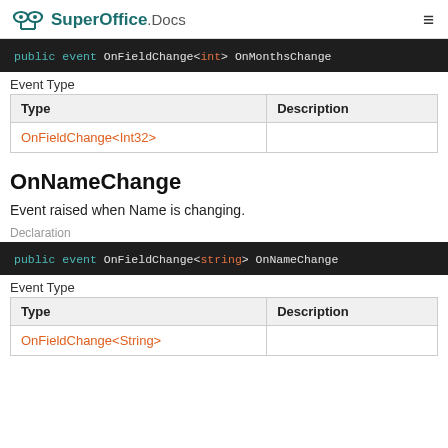SuperOffice.Docs
[Figure (screenshot): Code block showing: public event OnFieldChange<int> OnMonthsChange]
Event Type
| Type | Description |
| --- | --- |
| OnFieldChange<Int32> |  |
OnNameChange
Event raised when Name is changing.
Declaration
[Figure (screenshot): Code block showing: public event OnFieldChange<string> OnNameChange]
Event Type
| Type | Description |
| --- | --- |
| OnFieldChange<String> |  |